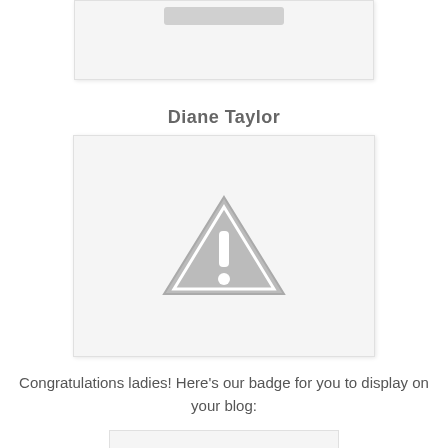[Figure (other): Partial image box cut off at top of page with a small rounded rectangle placeholder inside]
Diane Taylor
[Figure (other): Image placeholder box with a grey warning triangle icon (exclamation mark) centered inside a light grey rounded rectangle]
Congratulations ladies! Here's our badge for you to display on your blog:
[Figure (other): Partial image box at bottom of page, cut off]